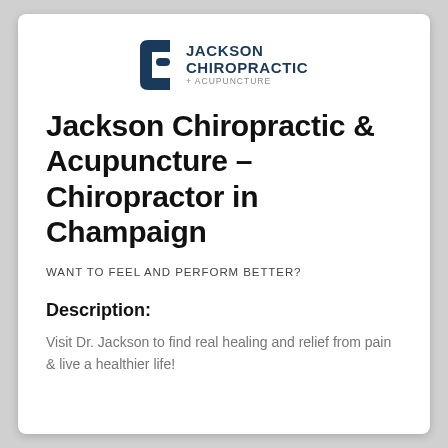[Figure (logo): Jackson Chiropractic + Acupuncture logo with stylized C icon in dark navy blue and text]
Jackson Chiropractic & Acupuncture – Chiropractor in Champaign
WANT TO FEEL AND PERFORM BETTER?
Description:
Visit Dr. Jackson to find real healing and relief from pain & live a healthier life!